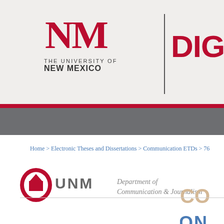[Figure (logo): University of New Mexico NM interlocked letters logo with 'THE UNIVERSITY OF NEW MEXICO' text below]
[Figure (logo): DIGITA text (Digital Repository partial) in large bold red font]
Home > Electronic Theses and Dissertations > Communication ETDs > 76
[Figure (logo): UNM Department of Communication & Journalism logo with red shield icon, UNM block letters, and department name in italic]
[Figure (logo): Partial 'CO' text in tan/beige color and 'CON' text in blue (partial title text)]